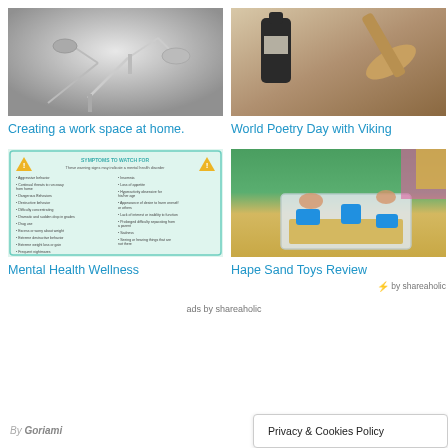[Figure (photo): Desk lamp (Artemide Tolomeo style) on grey background]
Creating a work space at home.
[Figure (photo): Dark bottle of ink and a wooden feather quill on a wooden surface]
World Poetry Day with Viking
[Figure (infographic): Mental Health Wellness symptoms to watch for infographic]
Mental Health Wellness
[Figure (photo): Children playing with blue sand toys in a clear plastic tub on grass]
Hape Sand Toys Review
by shareaholic
ads by shareaholic
By Goriami
Privacy & Cookies Policy